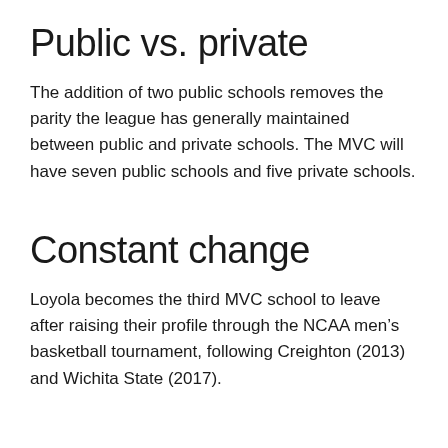Public vs. private
The addition of two public schools removes the parity the league has generally maintained between public and private schools. The MVC will have seven public schools and five private schools.
Constant change
Loyola becomes the third MVC school to leave after raising their profile through the NCAA men's basketball tournament, following Creighton (2013) and Wichita State (2017).